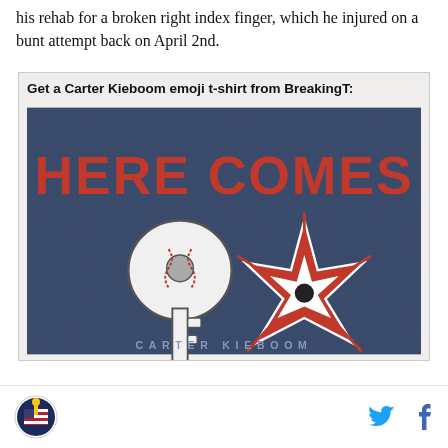his rehab for a broken right index finger, which he injured on a bunt attempt back on April 2nd.
[Figure (photo): Advertisement box with bold heading 'Get a Carter Kieboom emoji t-shirt from BreakingT:' and a photo of a navy blue t-shirt with 'HERE COMES' text in red and emoji-style graphics of a baseball key and a burst/explosion star, with 'CARTER KIEBOOM' text at the bottom.]
SB Nation logo icon | Twitter bird icon | Facebook f icon